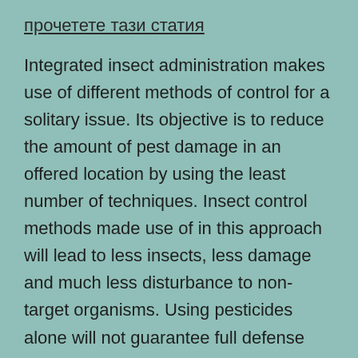прочетете тази статия
Integrated insect administration makes use of different methods of control for a solitary issue. Its objective is to reduce the amount of pest damage in an offered location by using the least number of techniques. Insect control methods made use of in this approach will lead to less insects, less damage and much less disturbance to non-target organisms. Using pesticides alone will not guarantee full defense from parasites since many varieties of bugs have become resistant to them. On top of that, some of the insects are immune to chemicals,